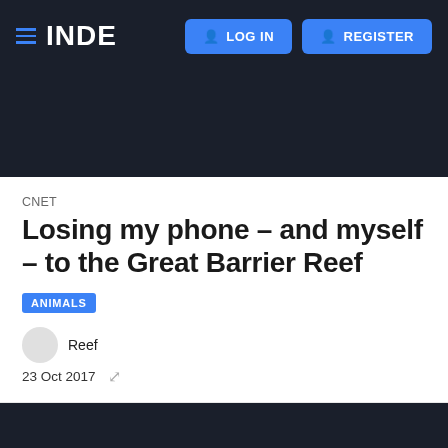INDE | LOG IN | REGISTER
CNET
Losing my phone – and myself – to the Great Barrier Reef
ANIMALS
Reef
23 Oct 2017